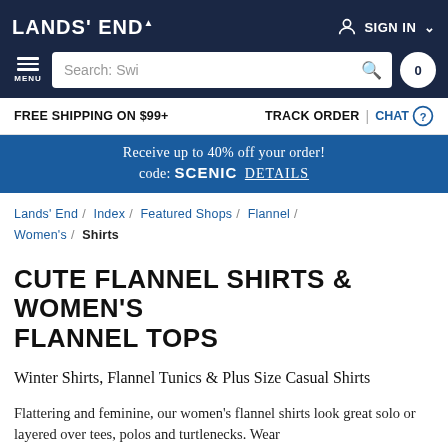LANDS' END — SIGN IN
Search: Swi
FREE SHIPPING ON $99+    TRACK ORDER  |  CHAT
Receive up to 40% off your order! code: SCENIC  DETAILS
Lands' End / Index / Featured Shops / Flannel / Women's / Shirts
CUTE FLANNEL SHIRTS & WOMEN'S FLANNEL TOPS
Winter Shirts, Flannel Tunics & Plus Size Casual Shirts
Flattering and feminine, our women's flannel shirts look great solo or layered over tees, polos and turtlenecks. Wear
. . . Read more